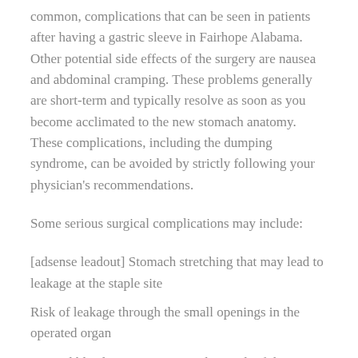common, complications that can be seen in patients after having a gastric sleeve in Fairhope Alabama. Other potential side effects of the surgery are nausea and abdominal cramping. These problems generally are short-term and typically resolve as soon as you become acclimated to the new stomach anatomy. These complications, including the dumping syndrome, can be avoided by strictly following your physician's recommendations.
Some serious surgical complications may include:
[adsense leadout] Stomach stretching that may lead to leakage at the staple site
Risk of leakage through the small openings in the operated organ
Internal bleeding may occur as the result of the